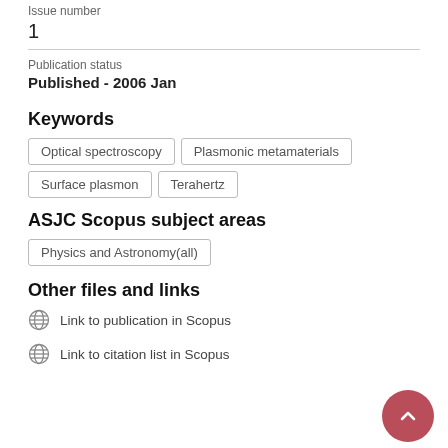Issue number
1
Publication status
Published - 2006 Jan
Keywords
Optical spectroscopy
Plasmonic metamaterials
Surface plasmon
Terahertz
ASJC Scopus subject areas
Physics and Astronomy(all)
Other files and links
Link to publication in Scopus
Link to citation list in Scopus